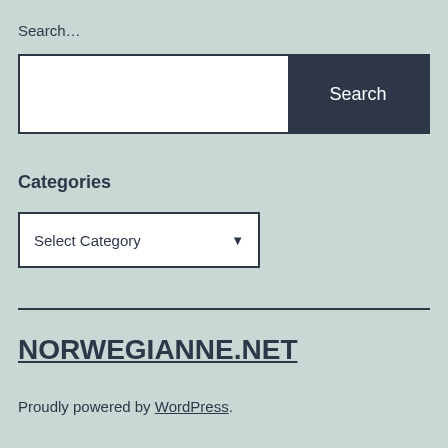Search…
[Figure (screenshot): Search input box with white text field on the left and a dark navy 'Search' button on the right]
Categories
[Figure (screenshot): Dropdown select box with 'Select Category' placeholder text and a downward arrow]
NORWEGIANNE.NET
Proudly powered by WordPress.